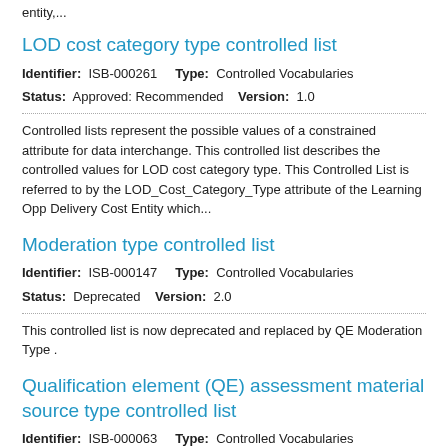entity,...
LOD cost category type controlled list
Identifier: ISB-000261  Type: Controlled Vocabularies
Status: Approved: Recommended  Version: 1.0
Controlled lists represent the possible values of a constrained attribute for data interchange. This controlled list describes the controlled values for LOD cost category type. This Controlled List is referred to by the LOD_Cost_Category_Type attribute of the Learning Opp Delivery Cost Entity which...
Moderation type controlled list
Identifier: ISB-000147  Type: Controlled Vocabularies
Status: Deprecated  Version: 2.0
This controlled list is now deprecated and replaced by QE Moderation Type .
Qualification element (QE) assessment material source type controlled list
Identifier: ISB-000063  Type: Controlled Vocabularies